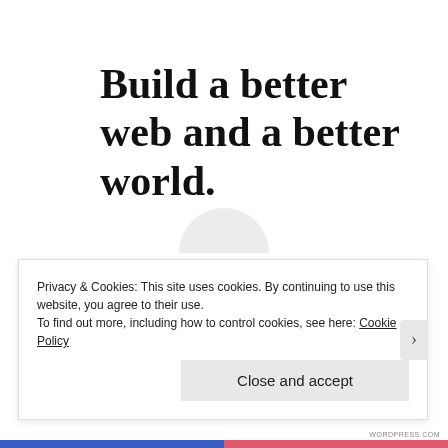Build a better web and a better world.
Apply
Privacy & Cookies: This site uses cookies. By continuing to use this website, you agree to their use.
To find out more, including how to control cookies, see here: Cookie Policy
Close and accept